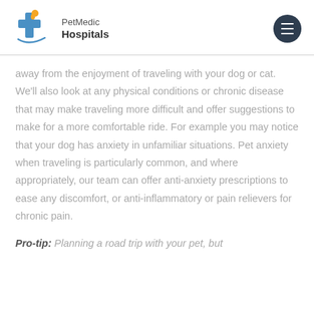[Figure (logo): PetMedic Hospitals logo with orange pet figure on blue cross, blue underline arc, and text 'PetMedic Hospitals']
away from the enjoyment of traveling with your dog or cat. We'll also look at any physical conditions or chronic disease that may make traveling more difficult and offer suggestions to make for a more comfortable ride. For example you may notice that your dog has anxiety in unfamiliar situations. Pet anxiety when traveling is particularly common, and where appropriately, our team can offer anti-anxiety prescriptions to ease any discomfort, or anti-inflammatory or pain relievers for chronic pain.
Pro-tip: Planning a road trip with your pet, but